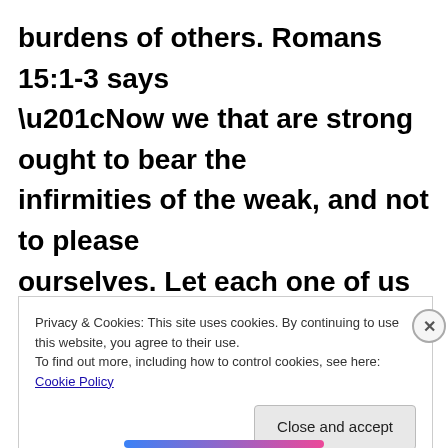burdens of others. Romans 15:1-3 says “Now we that are strong ought to bear the infirmities of the weak, and not to please ourselves. Let each one of us please his neighbor for that which is good, unto edifying. For Christ who pleased not
Privacy & Cookies: This site uses cookies. By continuing to use this website, you agree to their use.
To find out more, including how to control cookies, see here: Cookie Policy
Close and accept